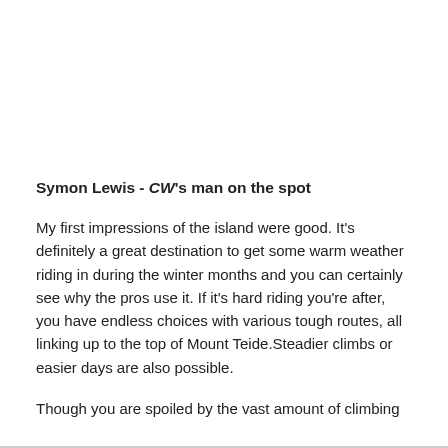Symon Lewis - CW's man on the spot
My first impressions of the island were good. It's definitely a great destination to get some warm weather riding in during the winter months and you can certainly see why the pros use it. If it's hard riding you're after, you have endless choices with various tough routes, all linking up to the top of Mount Teide.Steadier climbs or easier days are also possible.
Though you are spoiled by the vast amount of climbing